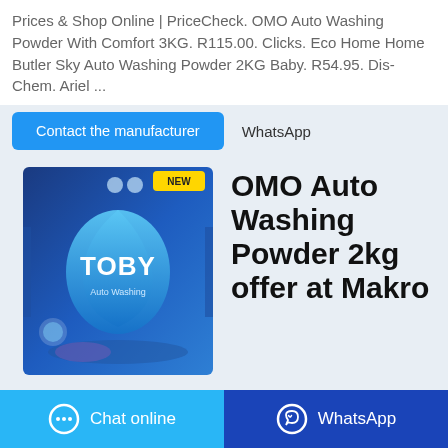Prices & Shop Online | PriceCheck. OMO Auto Washing Powder With Comfort 3KG. R115.00. Clicks. Eco Home Home Butler Sky Auto Washing Powder 2KG Baby. R54.95. Dis-Chem. Ariel ...
Contact the manufacturer
WhatsApp
[Figure (photo): Product photo of OMO/TOBY Auto Washing Powder box with blue packaging]
OMO Auto Washing Powder 2kg offer at Makro
(partial URL text cut off)
Chat online
WhatsApp